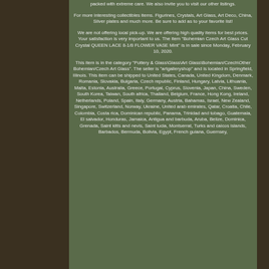packed with extreme care. We also invite you to visit our other listings.
For more interesting collectibles items. Figurines, Crystals, Art Glass, Art Deco, China, Silver plates and much more. Be sure to add as to your favorite list!
We are not offering local pick-up. We are offering high quality items for best prices. Your satisfaction is very important to us. The item "Bohemian Czech Art Glass Cut Crystal QUEEN LACE 8-1/8 FLOWER VASE Mint" is in sale since Monday, February 10, 2020.
This item is in the category "Pottery & Glass\Glass\Art Glass\Bohemian/Czech\Other Bohemian/Czech Art Glass". The seller is "artgalleryshop" and is located in Springfield, Illinois. This item can be shipped to United States, Canada, United Kingdom, Denmark, Romania, Slovakia, Bulgaria, Czech republic, Finland, Hungary, Latvia, Lithuania, Malta, Estonia, Australia, Greece, Portugal, Cyprus, Slovenia, Japan, China, Sweden, South Korea, Taiwan, South africa, Thailand, Belgium, France, Hong Kong, Ireland, Netherlands, Poland, Spain, Italy, Germany, Austria, Bahamas, Israel, New Zealand, Singapore, Switzerland, Norway, Ukraine, United arab emirates, Qatar, Croatia, Chile, Colombia, Costa rica, Dominican republic, Panama, Trinidad and tobago, Guatemala, El salvador, Honduras, Jamaica, Antigua and barbuda, Aruba, Belize, Dominica, Grenada, Saint kitts and nevis, Saint lucia, Montserrat, Turks and caicos islands, Barbados, Bermuda, Bolivia, Egypt, French guiana, Guernsey,